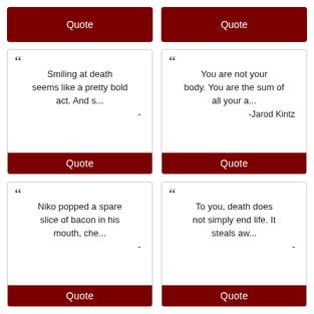Quote
Quote
“Smiling at death seems like a pretty bold act. And s... -
Quote
“You are not your body. You are the sum of all your a... -Jarod Kintz
Quote
“Niko popped a spare slice of bacon in his mouth, che... -
Quote
“To you, death does not simply end life. It steals aw... -
Quote